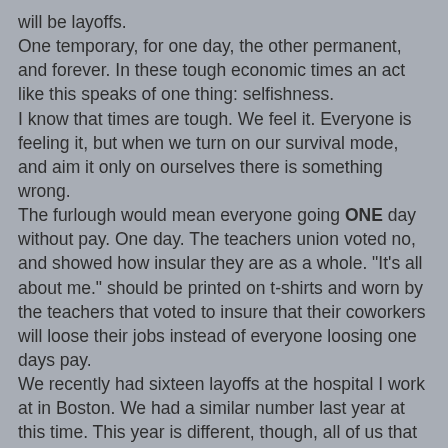will be layoffs.
One temporary, for one day, the other permanent, and forever. In these tough economic times an act like this speaks of one thing: selfishness.
I know that times are tough. We feel it. Everyone is feeling it, but when we turn on our survival mode, and aim it only on ourselves there is something wrong.
The furlough would mean everyone going ONE day without pay. One day. The teachers union voted no, and showed how insular they are as a whole. "It's all about me." should be printed on t-shirts and worn by the teachers that voted to insure that their coworkers will loose their jobs instead of everyone loosing one days pay.
We recently had sixteen layoffs at the hospital I work at in Boston. We had a similar number last year at this time. This year is different, though, all of us that survived have been assigned THREE furlough days to take in the upcoming year.